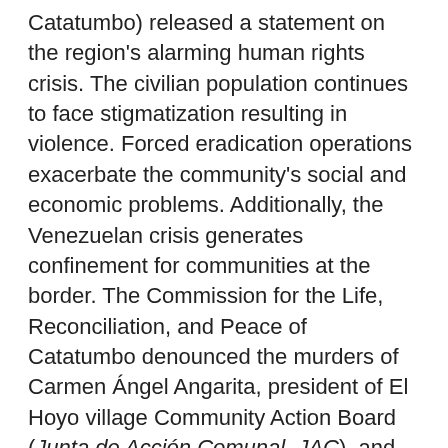Catatumbo) released a statement on the region's alarming human rights crisis. The civilian population continues to face stigmatization resulting in violence. Forced eradication operations exacerbate the community's social and economic problems. Additionally, the Venezuelan crisis generates confinement for communities at the border. The Commission for the Life, Reconciliation, and Peace of Catatumbo denounced the murders of Carmen Ángel Angarita, president of El Hoyo village Community Action Board (Junta de Acción Comunal, JAC), and Salvador Jaime Durán, member of the Filo Guamo JAC. The group also reported the abduction of Juan Jesús Peinando Mora, president of the San Isidro JAC. In response to these human rights violations, they urge: